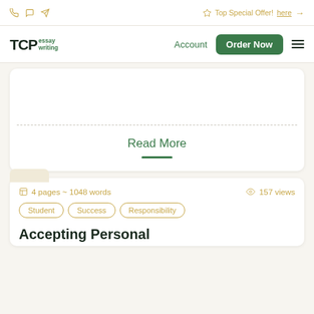Top Special Offer! here →
[Figure (logo): TCPessay writing logo with green text]
Account
Order Now
Read More
4 pages ~ 1048 words  157 views
Student
Success
Responsibility
Accepting Personal